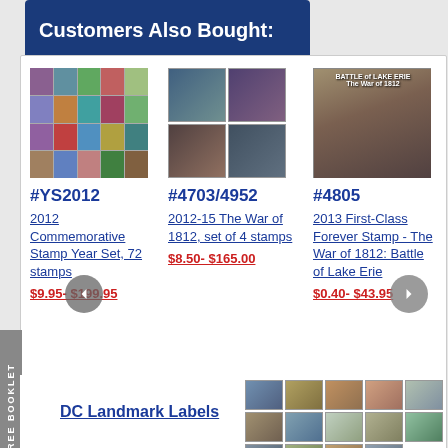Customers Also Bought:
[Figure (photo): Colorful commemorative stamp collage for YS2012 year set]
#YS2012
2012 Commemorative Stamp Year Set, 72 stamps
$9.95- $199.95
[Figure (photo): 2x2 grid of War of 1812 stamps]
#4703/4952
2012-15 The War of 1812, set of 4 stamps
$8.50- $165.00
[Figure (photo): Battle of Lake Erie commemorative stamp]
#4805
2013 First-Class Forever Stamp - The War of 1812: Battle of Lake Erie
$0.40- $43.95
[Figure (photo): DC Landmark Labels stamp set showing various landmark stamps in rows]
DC Landmark Labels